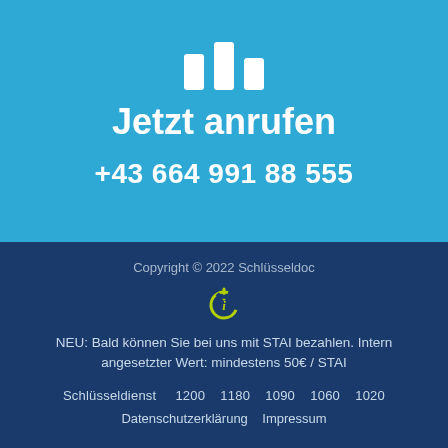[Figure (logo): Phone/call icon in white on blue background]
Jetzt anrufen
+43 664 991 88 555
Copyright © 2022 Schlüsseldoc
[Figure (logo): Green power/info circle icon]
NEU: Bald können Sie bei uns mit STAI bezahlen. Intern angesetzter Wert: mindestens 50€ / STAI
Schlüsseldienst   1200   1180   1090   1060   1020
Datenschutzerklärung   Impressum